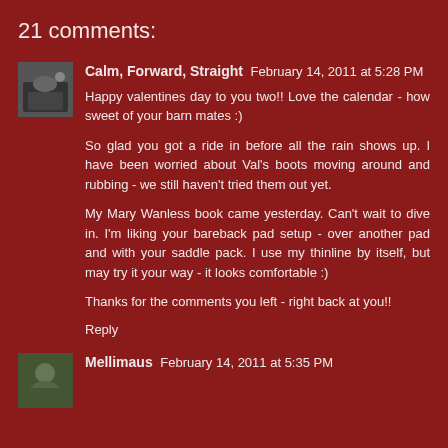21 comments:
Calm, Forward, Straight  February 14, 2011 at 5:28 PM
Happy valentines day to you two!! Love the calendar - how sweet of your barn mates :)

So glad you got a ride in before all the rain shows up. I have been worried about Val's boots moving around and rubbing - we still haven't tried them out yet.

My Mary Wanless book came yesterday. Can't wait to dive in. I'm liking your bareback pad setup - over another pad and with your saddle pack. I use my thinline by itself, but may try it your way - it looks comfortable :)

Thanks for the comments you left - right back at you!!

Reply
Mellimaus  February 14, 2011 at 5:35 PM